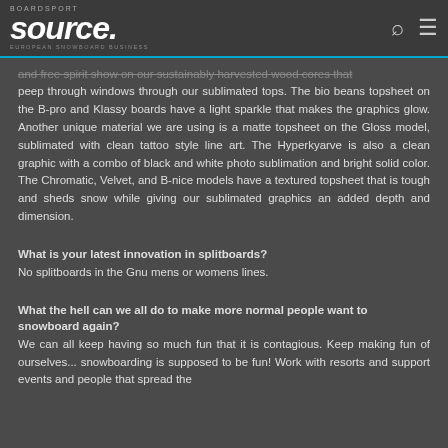BOARDSPORT SOURCE. European Snowboard Business
and free spirit show on our sustainably harvested wood cores that peep through windows through our sublimated tops. The bio beans topsheet on the B-pro and Klassy boards have a light sparkle that makes the graphics glow. Another unique material we are using is a matte topsheet on the Gloss model, sublimated with clean tattoo style line art. The Hyperkyarve is also a clean graphic with a combo of black and white photo sublimation and bright solid color. The Chromatic, Velvet, and B-nice models have a textured topsheet that is tough and sheds snow while giving our sublimated graphics an added depth and dimension.
What is your latest innovation in splitboards?
No splitboards in the Gnu mens or womens lines.
What the hell can we all do to make more normal people want to snowboard again?
We can all keep having so much fun that it is contagious. Keep making fun of ourselves... snowboarding is supposed to be fun! Work with resorts and support events and people that spread the